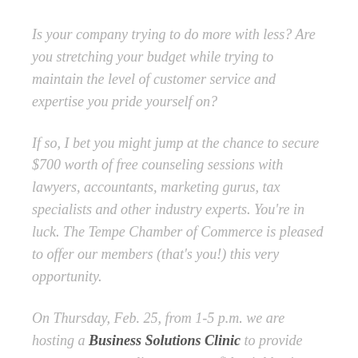Is your company trying to do more with less? Are you stretching your budget while trying to maintain the level of customer service and expertise you pride yourself on?
If so, I bet you might jump at the chance to secure $700 worth of free counseling sessions with lawyers, accountants, marketing gurus, tax specialists and other industry experts. You're in luck. The Tempe Chamber of Commerce is pleased to offer our members (that's you!) this very opportunity.
On Thursday, Feb. 25, from 1-5 p.m. we are hosting a Business Solutions Clinic to provide one-on-one, complimentary, confidential business counseling sessions to help you benefit